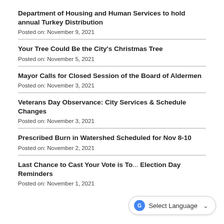Department of Housing and Human Services to hold annual Turkey Distribution
Posted on: November 9, 2021
Your Tree Could Be the City's Christmas Tree
Posted on: November 5, 2021
Mayor Calls for Closed Session of the Board of Aldermen
Posted on: November 3, 2021
Veterans Day Observance: City Services & Schedule Changes
Posted on: November 3, 2021
Prescribed Burn in Watershed Scheduled for Nov 8-10
Posted on: November 2, 2021
Last Chance to Cast Your Vote is To... Election Day Reminders
Posted on: November 1, 2021